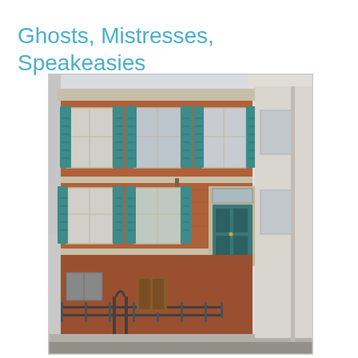Ghosts, Mistresses, Speakeasies
[Figure (photo): Exterior photograph of a historic multi-story red brick building with teal/green shutters on multiple windows, a teal front door with white trim and transom window, iron fence at street level, and a street lamp on the facade. The building appears to be a Philadelphia rowhouse.]